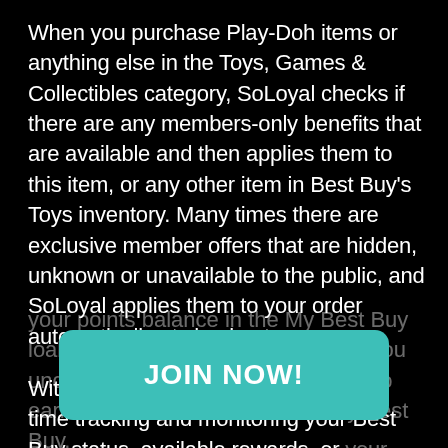When you purchase Play-Doh items or anything else in the Toys, Games & Collectibles category, SoLoyal checks if there are any members-only benefits that are available and then applies them to this item, or any other item in Best Buy's Toys inventory. Many times there are exclusive member offers that are hidden, unknown or unavailable to the public, and SoLoyal applies them to your order automatically at checkout.

With SoLoyal you don't have to waste time tracking and monitoring your Best Buy status, available rewards, or your points balance in the My Best Buy loyalty program. SoLoyal also helps you understand what you need in order to earn a reward as a member of My Best Buy.
[Figure (other): Teal/green rounded rectangle button with white bold text reading JOIN NOW!]